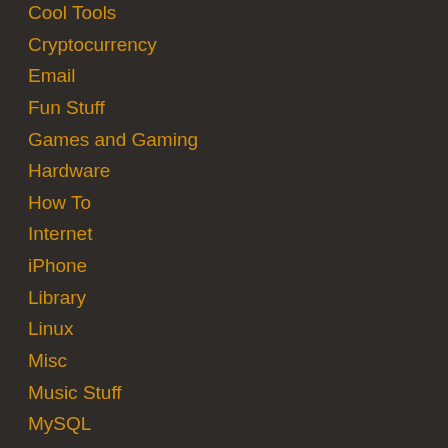Cool Tools
Cryptocurrency
Email
Fun Stuff
Games and Gaming
Hardware
How To
Internet
iPhone
Library
Linux
Misc
Music Stuff
MySQL
PERL
PHP
Rants
Reviews
Scripts
Security
Site News